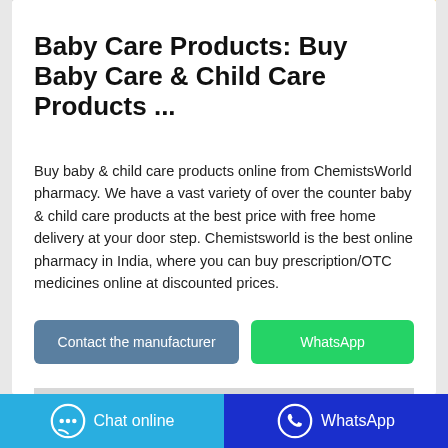[Figure (photo): Partial product image at the top of the card, showing yellow packaging]
Baby Care Products: Buy Baby Care & Child Care Products ...
Buy baby & child care products online from ChemistsWorld pharmacy. We have a vast variety of over the counter baby & child care products at the best price with free home delivery at your door step. Chemistsworld is the best online pharmacy in India, where you can buy prescription/OTC medicines online at discounted prices.
[Figure (other): Contact the manufacturer button (blue/grey) and WhatsApp button (green)]
[Figure (screenshot): Bottom image placeholder (grey rectangle)]
Chat online   WhatsApp